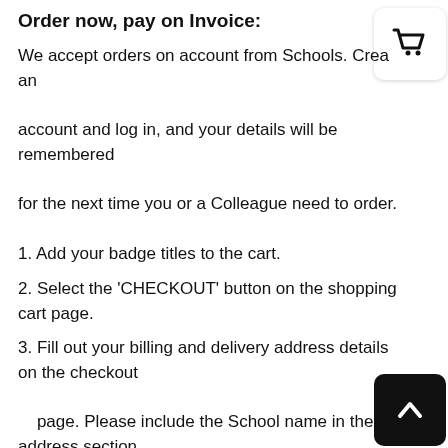Order now, pay on Invoice:
We accept orders on account from Schools. Create an account and log in, and your details will be remembered for the next time you or a Colleague need to order.
1. Add your badge titles to the cart.
2. Select the 'CHECKOUT' button on the shopping cart page.
3. Fill out your billing and delivery address details on the checkout page. Please include the School name in the address section.